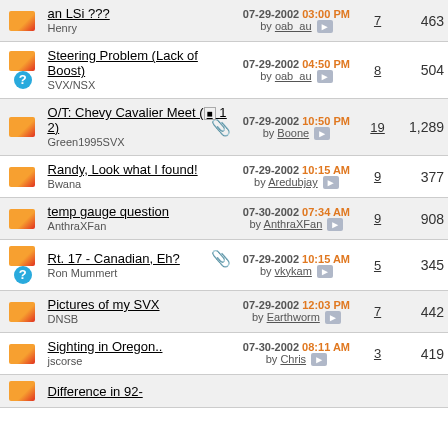|  | Topic | Last Post | Replies | Views |
| --- | --- | --- | --- | --- |
| [envelope] | an LSi ???
Henry | 07-29-2002 03:00 PM by oab_au | 7 | 463 |
| [envelope][?] | Steering Problem (Lack of Boost)
SVX/NSX | 07-29-2002 04:50 PM by oab_au | 8 | 504 |
| [envelope] | O/T: Chevy Cavalier Meet (1 2)
Green1995SVX [attach] | 07-29-2002 10:50 PM by Boone | 19 | 1,289 |
| [envelope] | Randy, Look what I found!
Bwana | 07-29-2002 10:15 AM by Aredubjay | 9 | 377 |
| [envelope] | temp gauge question
AnthraXFan | 07-30-2002 07:34 AM by AnthraXFan | 9 | 908 |
| [envelope][?] | Rt. 17 - Canadian, Eh?
Ron Mummert [attach] | 07-29-2002 10:15 AM by vkykam | 5 | 345 |
| [envelope] | Pictures of my SVX
DNSB | 07-29-2002 12:03 PM by Earthworm | 7 | 442 |
| [envelope] | Sighting in Oregon..
jscorse | 07-30-2002 08:11 AM by Chris | 3 | 419 |
| [envelope] | Difference in 92- |  |  |  |